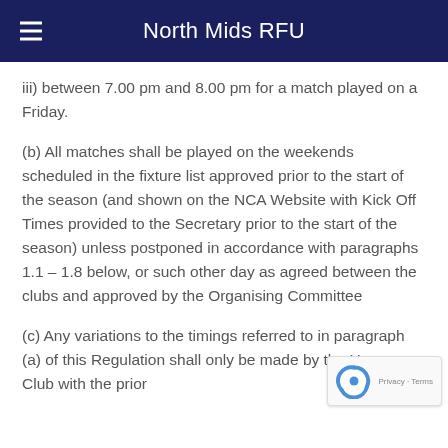North Mids RFU
iii) between 7.00 pm and 8.00 pm for a match played on a Friday.
(b) All matches shall be played on the weekends scheduled in the fixture list approved prior to the start of the season (and shown on the NCA Website with Kick Off Times provided to the Secretary prior to the start of the season) unless postponed in accordance with paragraphs 1.1 – 1.8 below, or such other day as agreed between the clubs and approved by the Organising Committee
(c) Any variations to the timings referred to in paragraph (a) of this Regulation shall only be made by the Home Club with the prior